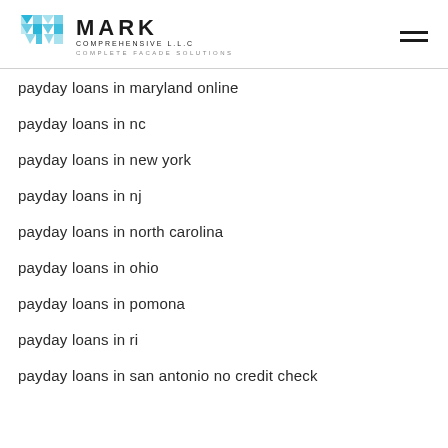MARK COMPREHENSIVE L.L.C — COMPLETE FACADE SOLUTIONS
payday loans in maryland online
payday loans in nc
payday loans in new york
payday loans in nj
payday loans in north carolina
payday loans in ohio
payday loans in pomona
payday loans in ri
payday loans in san antonio no credit check